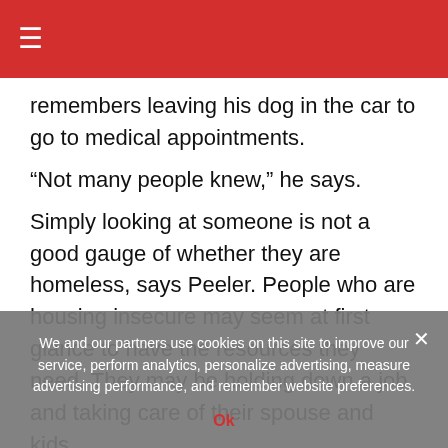≡
remembers leaving his dog in the car to go to medical appointments.
“Not many people knew,” he says.
Simply looking at someone is not a good gauge of whether they are homeless, says Peeler. People who are housing insecure may seem at first glance to have the resources they need. They may be holding down a job and taking care of their spouse and kids.
“But if you screen for multiple social determinants of health…
We and our partners use cookies on this site to improve our service, perform analytics, personalize advertising, measure advertising performance, and remember website preferences.
Ok